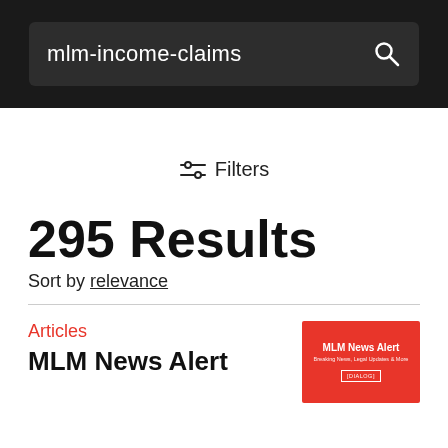mlm-income-claims
Filters
295 Results
Sort by relevance
Articles
MLM News Alert
[Figure (illustration): Red thumbnail image with white text reading MLM News Alert, Breaking News, Legal Updates & More, with a bracketed logo at the bottom]